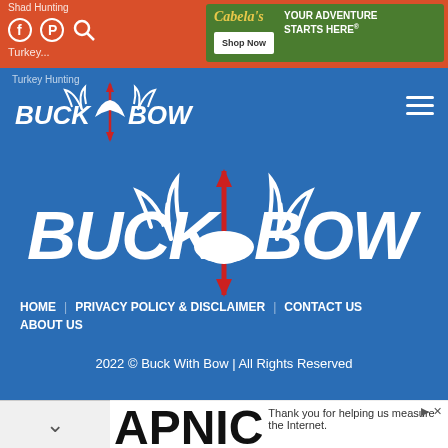[Figure (screenshot): Top orange navigation bar with social icons (Facebook, Pinterest, Search) and 'Shad Hunting' / 'Turkey' text links, plus a Cabela's advertisement banner reading 'YOUR ADVENTURE STARTS HERE' with Shop Now button]
[Figure (logo): Buck Bow website navigation bar with Buck Bow logo (white text with deer antler and arrow icon on blue background) and hamburger menu icon]
[Figure (logo): Large Buck Bow logo centered on blue background - white bold italic text with deer antler and red arrow graphic]
HOME   PRIVACY POLICY & DISCLAIMER   CONTACT US   ABOUT US
2022 © Buck With Bow | All Rights Reserved
[Figure (screenshot): Bottom collapse chevron bar and APNIC advertisement with text 'Thank you for helping us measure the Internet.']